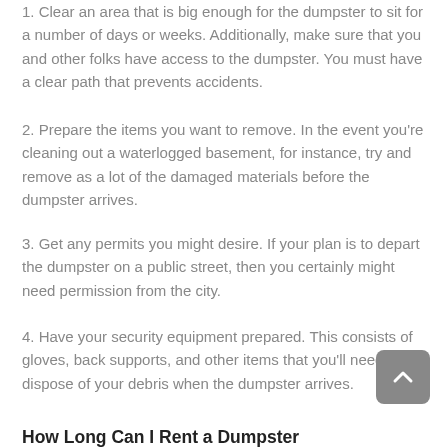1. Clear an area that is big enough for the dumpster to sit for a number of days or weeks. Additionally, make sure that you and other folks have access to the dumpster. You must have a clear path that prevents accidents.
2. Prepare the items you want to remove. In the event you're cleaning out a waterlogged basement, for instance, try and remove as a lot of the damaged materials before the dumpster arrives.
3. Get any permits you might desire. If your plan is to depart the dumpster on a public street, then you certainly might need permission from the city.
4. Have your security equipment prepared. This consists of gloves, back supports, and other items that you'll need to dispose of your debris when the dumpster arrives.
How Long Can I Rent a Dumpster